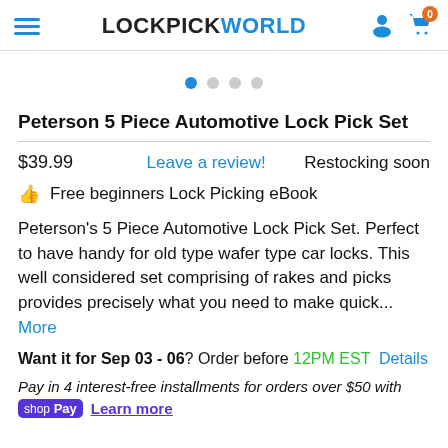LOCKPICKWORLD
Peterson 5 Piece Automotive Lock Pick Set
$39.99   Leave a review!   Restocking soon
👍 Free beginners Lock Picking eBook
Peterson's 5 Piece Automotive Lock Pick Set. Perfect to have handy for old type wafer type car locks. This well considered set comprising of rakes and picks provides precisely what you need to make quick... More
Want it for Sep 03 - 06? Order before 12PM EST Details
Pay in 4 interest-free installments for orders over $50 with shop Pay Learn more